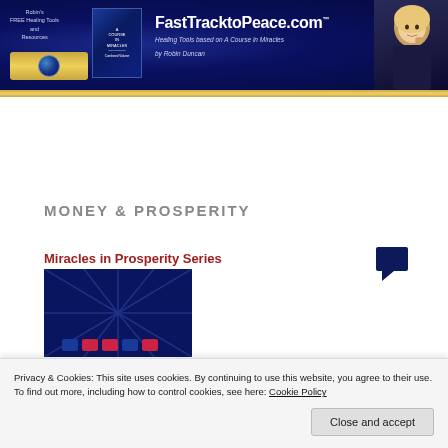[Figure (screenshot): FastTracktoPeace.com website header banner with dark blue background, book cover, globe image, website title, tagline 'Healing Tools based on A Course in Miracles', byline 'by Robin Duncan', and photo of a blonde woman]
MONEY & PROSPERITY
Miracles in Prosperity Series
[Figure (photo): Dark blue product image thumbnail with radiating lines and 'Miracles' text]
Privacy & Cookies: This site uses cookies. By continuing to use this website, you agree to their use.
To find out more, including how to control cookies, see here: Cookie Policy
Close and accept